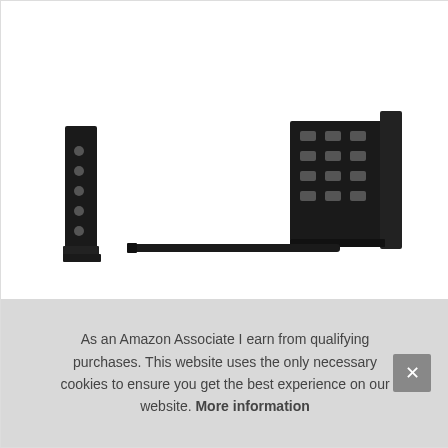[Figure (photo): Product photo of a car radio installation kit with two black metal side brackets (one narrow vertical bracket on the left, one wider L-shaped bracket with multiple cutout holes on the right) and a long thin black metal rod/bar in the center bottom.]
As an Amazon Associate I earn from qualifying purchases. This website uses the only necessary cookies to ensure you get the best experience on our website. More information